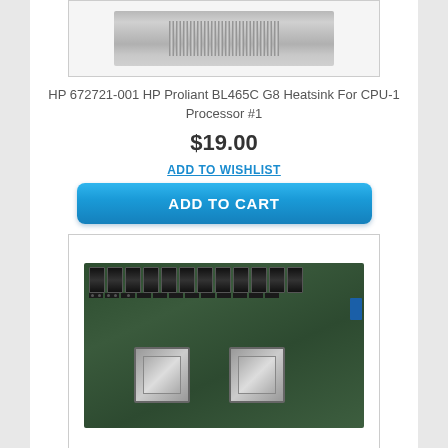[Figure (photo): Partial image of HP 672721-001 HP Proliant BL465C G8 Heatsink at top of page]
HP 672721-001 HP Proliant BL465C G8 Heatsink For CPU-1 Processor #1
$19.00
ADD TO WISHLIST
ADD TO CART
[Figure (photo): Photo of HP 706568-001 Proliant BL465C G8 server motherboard with dual CPU sockets and memory slots]
HP 706568-001 Proliant BL465C G8